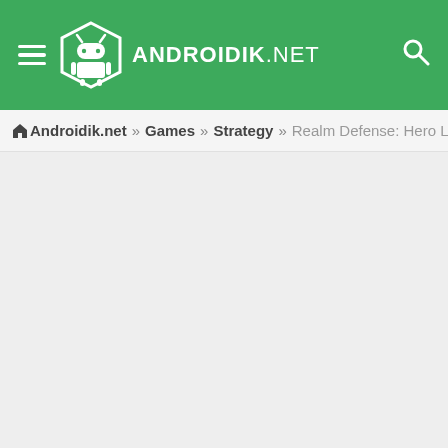ANDROIDIK.NET
🏠 Androidik.net » Games » Strategy » Realm Defense: Hero Legends TD